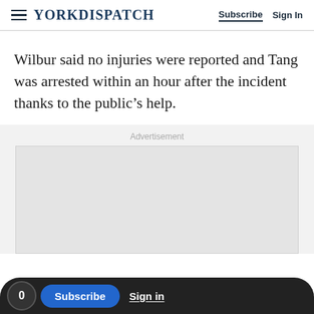YORK DISPATCH | Subscribe | Sign In
Wilbur said no injuries were reported and Tang was arrested within an hour after the incident thanks to the public’s help.
Advertisement
[Figure (other): Empty advertisement placeholder box with light gray background.]
0 | Subscribe | Sign in